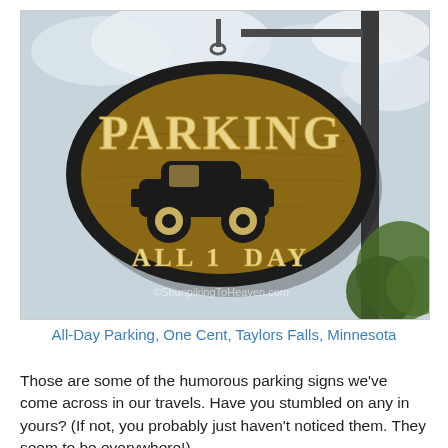[Figure (photo): A vintage wooden oval parking sign hanging from a metal post. The sign reads 'PARKING' in large letters at the top, with a silhouette of an old-fashioned car in the middle, and 'ALL 1 DAY' at the bottom. A watermark reads '©ShunpikingToHeaven.com'. The background is a partly cloudy sky.]
All-Day Parking, One Cent, Taylors Falls, Minnesota
Those are some of the humorous parking signs we've come across in our travels. Have you stumbled on any in yours? (If not, you probably just haven't noticed them. They seem to be everywhere!)